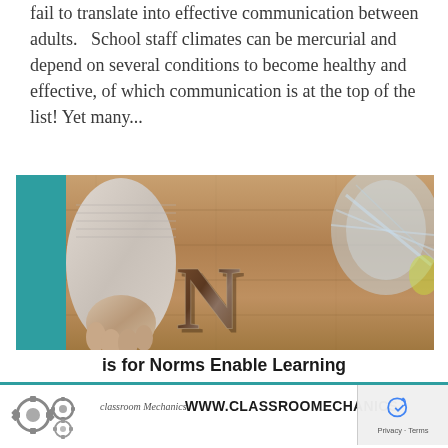fail to translate into effective communication between adults.   School staff climates can be mercurial and depend on several conditions to become healthy and effective, of which communication is at the top of the list! Yet many...
[Figure (photo): Photo of a child's hands near a wooden letter N on a hardwood floor, with a teal side panel and a spinning object in the top right]
is for Norms Enable Learning
Classroom Mechanics  WWW.CLASSROOMECHANICS